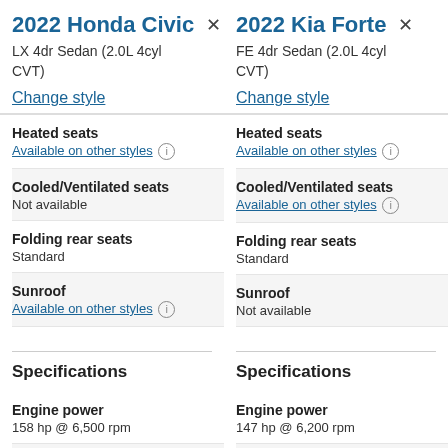2022 Honda Civic
LX 4dr Sedan (2.0L 4cyl CVT)
Change style
2022 Kia Forte
FE 4dr Sedan (2.0L 4cyl CVT)
Change style
20...
SE... CV...
Ch...
| Feature | 2022 Honda Civic | 2022 Kia Forte | 2022 ... |
| --- | --- | --- | --- |
| Heated seats | Available on other styles ⓘ | Available on other styles ⓘ | He... Av... |
| Cooled/Ventilated seats | Not available | Available on other styles ⓘ | Co... Av... |
| Folding rear seats | Standard | Standard | Fo... Sta... |
| Sunroof | Available on other styles ⓘ | Not available | Su... Av... |
Specifications
Specifications
Sp...
| Spec | 2022 Honda Civic | 2022 Kia Forte | 2022... |
| --- | --- | --- | --- |
| Engine power | 158 hp @ 6,500 rpm | 147 hp @ 6,200 rpm | 14... |
| Engine torque | 138 ft-lbs @ 4,000... | 130 ft-lbs @ 4,500... | En... |